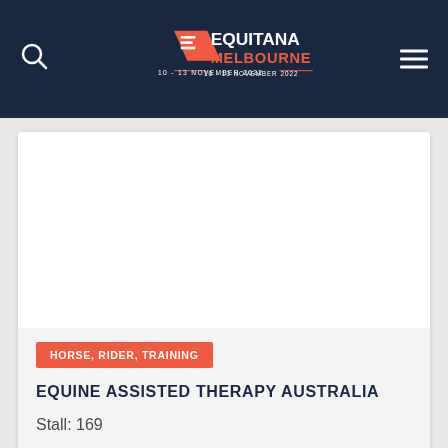EQUITANA MELBOURNE 10 - 13 NOVEMBER 2022
[Figure (logo): Equitana Melbourne logo with horse head silhouette, dates 10-13 November 2022]
HORSE, RIDER, TRAINING
EQUINE ASSISTED THERAPY AUSTRALIA
Stall: 169